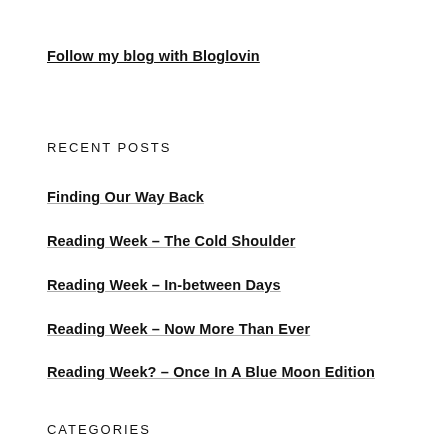Follow my blog with Bloglovin
RECENT POSTS
Finding Our Way Back
Reading Week – The Cold Shoulder
Reading Week – In-between Days
Reading Week – Now More Than Ever
Reading Week? – Once In A Blue Moon Edition
CATEGORIES